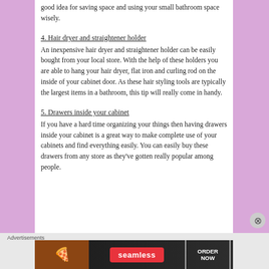good idea for saving space and using your small bathroom space wisely.
4. Hair dryer and straightener holder
An inexpensive hair dryer and straightener holder can be easily bought from your local store. With the help of these holders you are able to hang your hair dryer, flat iron and curling rod on the inside of your cabinet door. As these hair styling tools are typically the largest items in a bathroom, this tip will really come in handy.
5. Drawers inside your cabinet
If you have a hard time organizing your things then having drawers inside your cabinet is a great way to make complete use of your cabinets and find everything easily. You can easily buy these drawers from any store as they've gotten really popular among people.
Advertisements
[Figure (other): Seamless food delivery advertisement banner with pizza image on left, Seamless red logo in center, and ORDER NOW button on right]